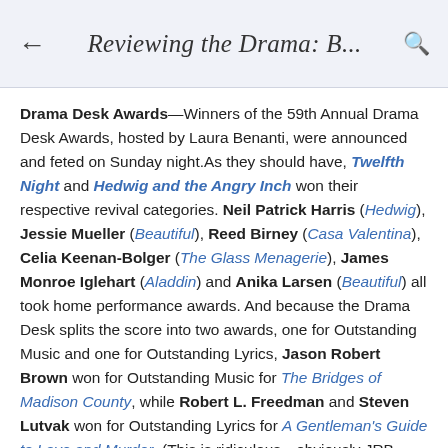← Reviewing the Drama: B... 🔍
Drama Desk Awards—Winners of the 59th Annual Drama Desk Awards, hosted by Laura Benanti, were announced and feted on Sunday night.As they should have, Twelfth Night and Hedwig and the Angry Inch won their respective revival categories. Neil Patrick Harris (Hedwig), Jessie Mueller (Beautiful), Reed Birney (Casa Valentina), Celia Keenan-Bolger (The Glass Menagerie), James Monroe Iglehart (Aladdin) and Anika Larsen (Beautiful) all took home performance awards. And because the Drama Desk splits the score into two awards, one for Outstanding Music and one for Outstanding Lyrics, Jason Robert Brown won for Outstanding Music for The Bridges of Madison County, while Robert L. Freedman and Steven Lutvak won for Outstanding Lyrics for A Gentleman's Guide to Love and Murder. (This is ridiculous—obviously JRB should have won both; he did win